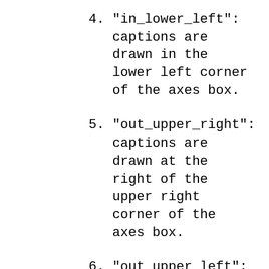4. "in_lower_left": captions are drawn in the lower left corner of the axes box.
5. "out_upper_right": captions are drawn at the right of the upper right corner of the axes box.
6. "out_upper_left": captions are drawn at the left of the upper left corner of the axes box.
7. "out_lower_right": captions are drawn at the right of the